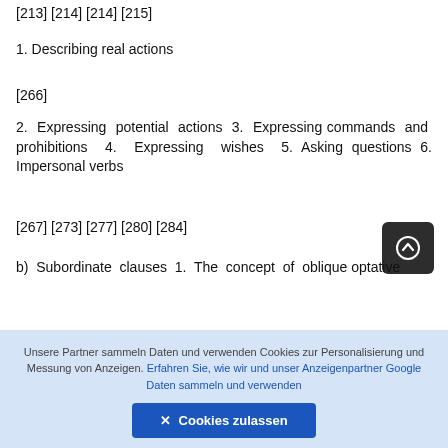[213] [214] [214] [215]
1. Describing real actions
[266]
2. Expressing potential actions 3. Expressing commands and prohibitions 4. Expressing wishes 5. Asking questions 6. Impersonal verbs
[267] [273] [277] [280] [284]
b) Subordinate clauses 1. The concept of oblique optative
Unsere Partner sammeln Daten und verwenden Cookies zur Personalisierung und Messung von Anzeigen. Erfahren Sie, wie wir und unser Anzeigenpartner Google Daten sammeln und verwenden
✕ Cookies zulassen